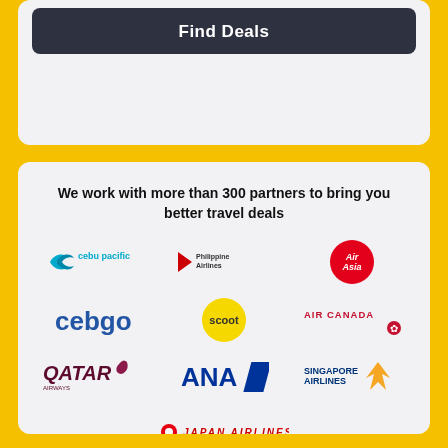Find Deals
We work with more than 300 partners to bring you better travel deals
[Figure (logo): Cebu Pacific airline logo]
[Figure (logo): Philippine Airlines logo]
[Figure (logo): AirAsia logo]
[Figure (logo): cebgo logo]
[Figure (logo): Scoot airline logo]
[Figure (logo): Air Canada logo]
[Figure (logo): Qatar Airways logo]
[Figure (logo): ANA logo]
[Figure (logo): Singapore Airlines logo]
[Figure (logo): Japan Airlines logo]